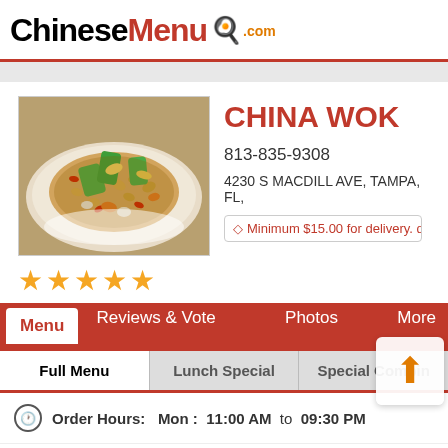ChineseMenu.com
[Figure (photo): Photo of a Chinese stir-fry dish with vegetables, peanuts, and corn on a white plate]
CHINA WOK
813-835-9308
4230 S MACDILL AVE, TAMPA, FL,
Minimum $15.00 for delivery. de
★★★★★
Menu | Reviews & Vote | Photos | More
| Full Menu | Lunch Special | Special Combination |
| --- | --- | --- |
Order Hours:  Mon :  11:00 AM  to  09:30 PM
▶ Appetizers
▶ Soup